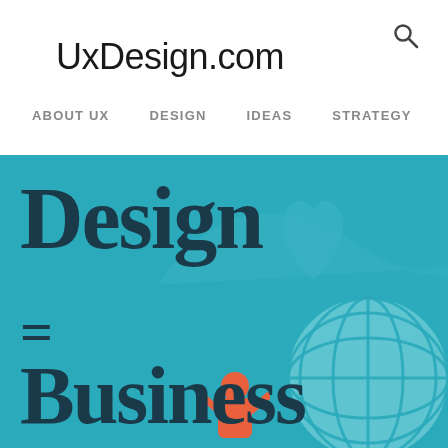UxDesign.com
ABOUT UX
DESIGN
IDEAS
STRATEGY
M >
[Figure (illustration): Hero banner with teal background showing large dark blue serif text 'Design = Business' with decorative eye/heart graphic and globe graphic, plus orange figure at bottom]